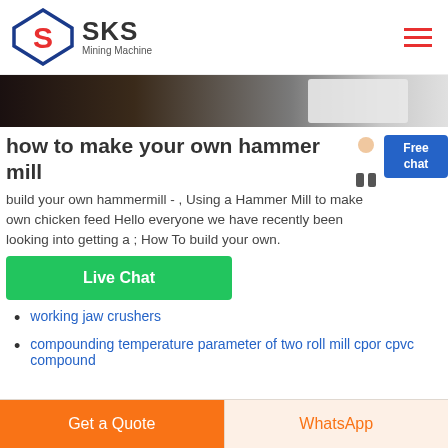[Figure (logo): SKS Mining Machine logo with diamond-shaped icon containing an S, and text 'SKS Mining Machine']
[Figure (photo): Hero image showing mining machinery in dark tones]
how to make your own hammer mill
build your own hammermill - , Using a Hammer Mill to make own chicken feed Hello everyone we have recently been looking into getting a ; How To build your own.
[Figure (other): Green Live Chat button]
working jaw crushers
compounding temperature parameter of two roll mill cpor cpvc compound
[Figure (other): Bottom bar with Get a Quote and WhatsApp buttons]